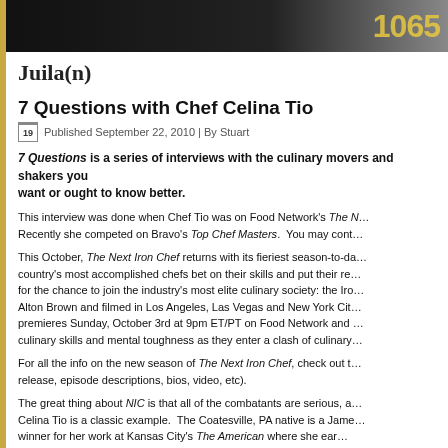[Figure (photo): Dark header image with a person in white and yellow radio station logo showing '1065']
Juila(n)
7 Questions with Chef Celina Tio
Published September 22, 2010 | By Stuart
7 Questions is a series of interviews with the culinary movers and shakers you want or ought to know better.
This interview was done when Chef Tio was on Food Network's The Next Iron Chef. Recently she competed on Bravo's Top Chef Masters. You may cont...
This October, The Next Iron Chef returns with its fieriest season-to-date as the country's most accomplished chefs bet on their skills and put their reputations on the line for the chance to join the industry's most elite culinary society: the Iron Chef. Hosted by Alton Brown and filmed in Los Angeles, Las Vegas and New York City, the new season premieres Sunday, October 3rd at 9pm ET/PT on Food Network and ... culinary skills and mental toughness as they enter a clash of culinary...
For all the info on the new season of The Next Iron Chef, check out the press release, episode descriptions, bios, video, etc).
The great thing about NIC is that all of the combatants are serious, and Chef Celina Tio is a classic example. The Coatesville, PA native is a James Beard Award winner for her work at Kansas City's The American where she ear...